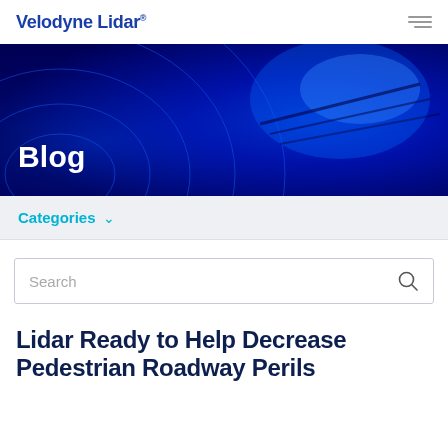Velodyne Lidar
[Figure (illustration): Blue hero banner with abstract lidar scan wave patterns and a dark blue background, with the word Blog overlaid in bold white text on the left side.]
Blog
Categories ∨
Search
Lidar Ready to Help Decrease Pedestrian Roadway Perils